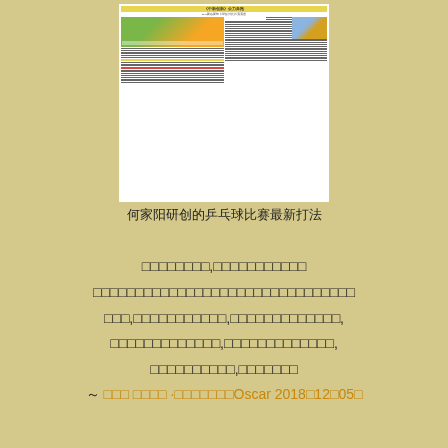[Figure (photo): A newspaper/magazine page showing a Chinese publication with a group photo of people in sports uniforms (yellow and red) and smaller inset photos, with headline text in Chinese]
何家阳研创的乒乓球比赛最新打法
□□□□□□□□,□□□□□□□□□□□
□□□□□□□□□□□□□□□□□□□□□□□□□□□□□□□
□□□,□□□□□□□□□□□,□□□□□□□□□□□□□,
□□□□□□□□□□□□□,□□□□□□□□□□□□□,
□□□□□□□□□□,□□□□□□□
～ □□□ □□□□ ·□□□□□□□Oscar  2018□12□05□